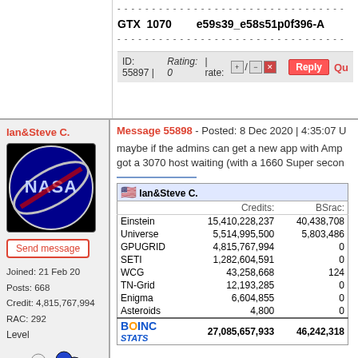GTX 1070   e59s39_e58s51p0f396-A
ID: 55897 | Rating: 0 | rate: +/- | Reply | Qu
Ian&Steve C.
[Figure (logo): NASA logo, circular blue emblem]
Send message
Joined: 21 Feb 20
Posts: 668
Credit: 4,815,767,994
RAC: 292
Level
[Figure (illustration): Arginine (Arg) molecule illustration with colored spheres]
Message 55898 - Posted: 8 Dec 2020 | 4:35:07 U
maybe if the admins can get a new app with Amp got a 3070 host waiting (with a 1660 Super secon
|  | Ian&Steve C. |  |
| --- | --- | --- |
|  | Credits: | BSrac: |
| Einstein | 15,410,228,237 | 40,438,708 |
| Universe | 5,514,995,500 | 5,803,486 |
| GPUGRID | 4,815,767,994 | 0 |
| SETI | 1,282,604,591 | 0 |
| WCG | 43,258,668 | 124 |
| TN-Grid | 12,193,285 | 0 |
| Enigma | 6,604,855 | 0 |
| Asteroids | 4,800 | 0 |
| [BOINC Stats logo] | 27,085,657,933 | 46,242,318 |